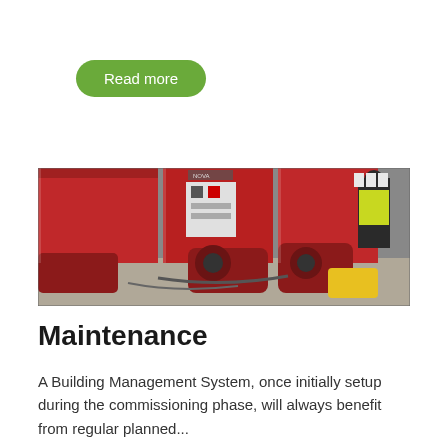Read more
[Figure (photo): Industrial boiler room with large red biomass boilers or heating units. A worker in a high-visibility yellow vest is visible on the right side. Various mechanical components, pipes, and control panels are visible. The floor is gray concrete.]
Maintenance
A Building Management System, once initially setup during the commissioning phase, will always benefit from regular planned...